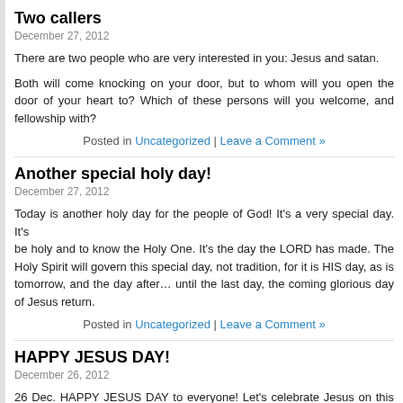Two callers
December 27, 2012
There are two people who are very interested in you: Jesus and satan.
Both will come knocking on your door, but to whom will you open the door of your heart to? Which of these persons will you welcome, and fellowship with?
Posted in Uncategorized | Leave a Comment »
Another special holy day!
December 27, 2012
Today is another holy day for the people of God! It's a very special day. It's the day to be holy and to know the Holy One. It's the day the LORD has made. The Holy Spirit will govern this special day, not tradition, for it is HIS day, as is tomorrow, and the day after… until the last day, the coming glorious day of Jesus return.
Posted in Uncategorized | Leave a Comment »
HAPPY JESUS DAY!
December 26, 2012
26 Dec. HAPPY JESUS DAY to everyone! Let's celebrate Jesus on this Day! And on the 27, 28, 29th……